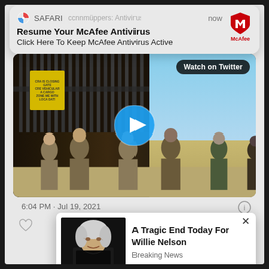[Figure (screenshot): Safari browser push notification overlay showing McAfee Antivirus ad: 'Resume Your McAfee Antivirus / Click Here To Keep McAfee Antivirus Active' with McAfee logo]
[Figure (screenshot): Screenshot of a Twitter/X post showing a video thumbnail of law enforcement officers at a border fence gate, with a 'Watch on Twitter' button and blue play button overlay]
6:04 PM · Jul 19, 2021
[Figure (screenshot): Ad popup overlay showing an elderly man (Willie Nelson) with headline 'A Tragic End Today For Willie Nelson' and subtext 'Breaking News', with X close button]